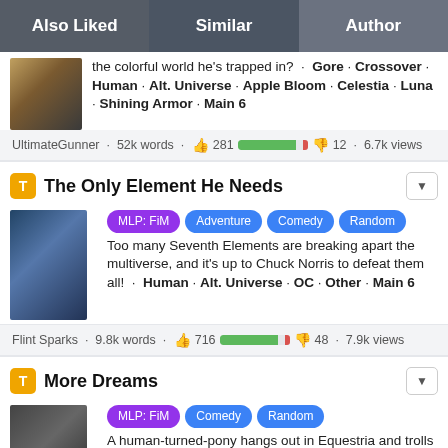Also Liked | Similar | Author
the colorful world he's trapped in? · Gore · Crossover · Human · Alt. Universe · Apple Bloom · Celestia · Luna · Shining Armor · Main 6
UltimateGunner · 52k words · 👍 281 [vote bar] 12 · 6.7k views
The Only Element He Needs
MLP: FiM Adventure Comedy Random  Too many Seventh Elements are breaking apart the multiverse, and it's up to Chuck Norris to defeat them all! · Human · Alt. Universe · OC · Other · Main 6
Flint Sparks · 9.8k words · 👍 716 [vote bar] 48 · 7.9k views
More Dreams
MLP: FiM Comedy Random  A human-turned-pony hangs out in Equestria and trolls · Alt.